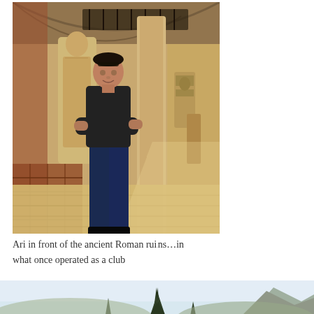[Figure (photo): A young man standing with arms crossed inside an ancient Roman ruins museum/site. Behind him are stone statues and ancient artifacts displayed in a warm, brick-walled arched interior space.]
Ari in front of the ancient Roman ruins…in what once operated as a club
[Figure (photo): Partial view of a second photo showing a landscape with trees and a light blue sky, partially cut off at the bottom of the page.]